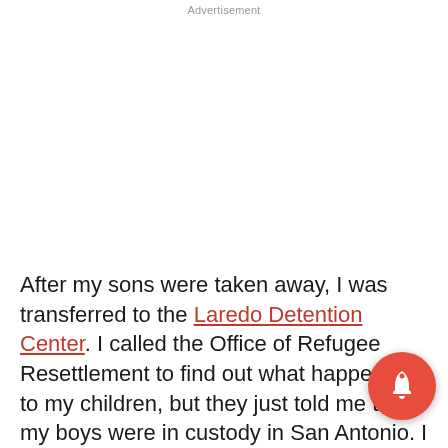Advertisement
After my sons were taken away, I was transferred to the Laredo Detention Center. I called the Office of Refugee Resettlement to find out what happened to my children, but they just told me that my boys were in custody in San Antonio. I